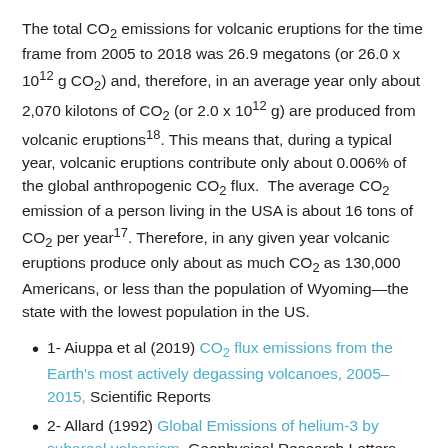The total CO₂ emissions for volcanic eruptions for the time frame from 2005 to 2018 was 26.9 megatons (or 26.0 x 10¹² g CO₂) and, therefore, in an average year only about 2,070 kilotons of CO₂ (or 2.0 x 10¹² g) are produced from volcanic eruptions¹⁸. This means that, during a typical year, volcanic eruptions contribute only about 0.006% of the global anthropogenic CO₂ flux. The average CO₂ emission of a person living in the USA is about 16 tons of CO₂ per year¹⁷. Therefore, in any given year volcanic eruptions produce only about as much CO₂ as 130,000 Americans, or less than the population of Wyoming—the state with the lowest population in the US.
1- Aiuppa et al (2019) CO₂ flux emissions from the Earth's most actively degassing volcanoes, 2005–2015, Scientific Reports
2- Allard (1992) Global Emissions of helium-3 by subareal volcanism, Geophysical Research Letters
3- Brantley and Koepenick (1995) Measured